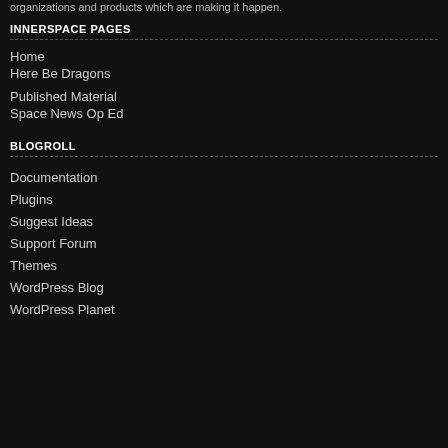organizations and products which are making it happen.
INNERSPACE PAGES
Home
Here Be Dragons
Published Material
Space News Op Ed
BLOGROLL
Documentation
Plugins
Suggest Ideas
Support Forum
Themes
WordPress Blog
WordPress Planet